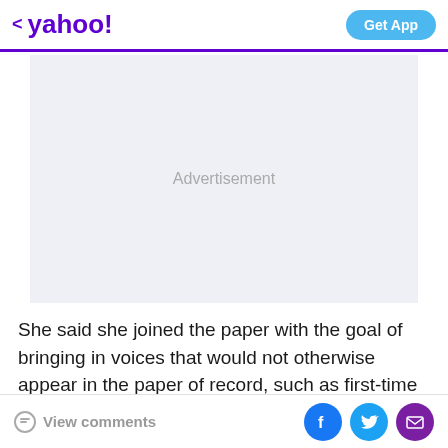< yahoo! | Get App
[Figure (other): Advertisement placeholder block with light gray background and centered 'Advertisement' label]
She said she joined the paper with the goal of bringing in voices that would not otherwise appear in the paper of record, such as first-time writers, centrists, conservatives and others "who would not naturally think
View comments | Facebook share | Twitter share | Email share